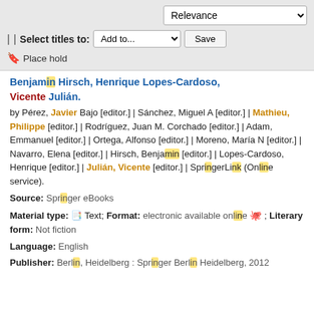Relevance | Select titles to: Add to... Save | Place hold
Benjamin Hirsch, Henrique Lopes-Cardoso, Vicente Julián.
by Pérez, Javier Bajo [editor.] | Sánchez, Miguel A [editor.] | Mathieu, Philippe [editor.] | Rodríguez, Juan M. Corchado [editor.] | Adam, Emmanuel [editor.] | Ortega, Alfonso [editor.] | Moreno, María N [editor.] | Navarro, Elena [editor.] | Hirsch, Benjamin [editor.] | Lopes-Cardoso, Henrique [editor.] | Julián, Vicente [editor.] | SpringerLink (Online service).
Source: Springer eBooks
Material type: Text; Format: electronic available online ; Literary form: Not fiction
Language: English
Publisher: Berlin, Heidelberg : Springer Berlin Heidelberg, 2012